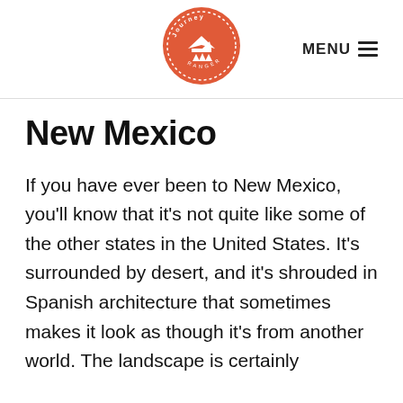Journey Ranger — MENU
New Mexico
If you have ever been to New Mexico, you'll know that it's not quite like some of the other states in the United States. It's surrounded by desert, and it's shrouded in Spanish architecture that sometimes makes it look as though it's from another world. The landscape is certainly…